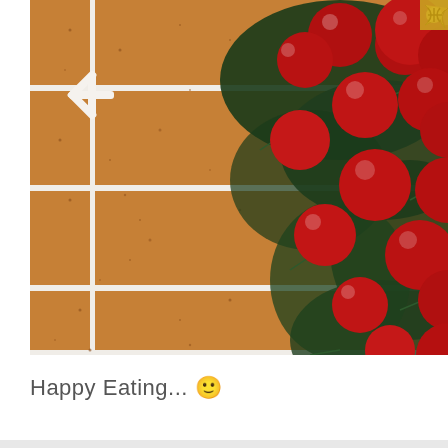[Figure (photo): Close-up photo of a gingerbread house wall decorated with white icing mortar lines between gingerbread bricks. On the right side and top, a cluster of shiny red Christmas ornament balls are arranged on a bed of dark green pine/spruce foliage. A gold decorative element is partially visible in the top right corner.]
Happy Eating... 🙂